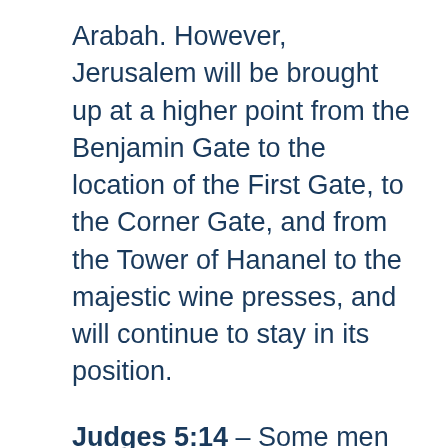Arabah. However, Jerusalem will be brought up at a higher point from the Benjamin Gate to the location of the First Gate, to the Corner Gate, and from the Tower of Hananel to the majestic wine presses, and will continue to stay in its position.
Judges 5:14 – Some men had arrived from Ephraim, whose foundations were laid in Amalek; Benjamin was in the company of the people who came after you. From Makir, the masters had descended, from Zebulun, the people who carry a master's employees.